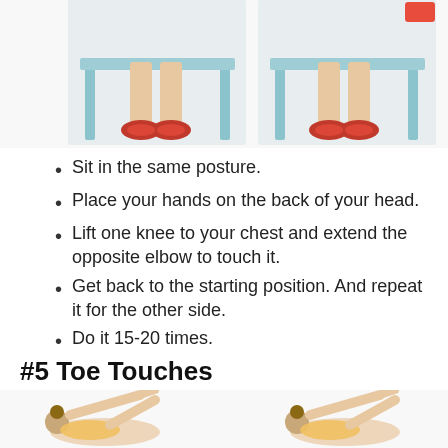[Figure (photo): Two photos side by side showing a person's lower body seated on a light blue chair with red and black sneakers, demonstrating an exercise starting position (left) and a variation (right).]
Sit in the same posture.
Place your hands on the back of your head.
Lift one knee to your chest and extend the opposite elbow to touch it.
Get back to the starting position. And repeat it for the other side.
Do it 15-20 times.
#5 Toe Touches
[Figure (photo): Two photos side by side showing a person lying on the floor performing a toe touch exercise — arms and legs raised, reaching toward toes.]